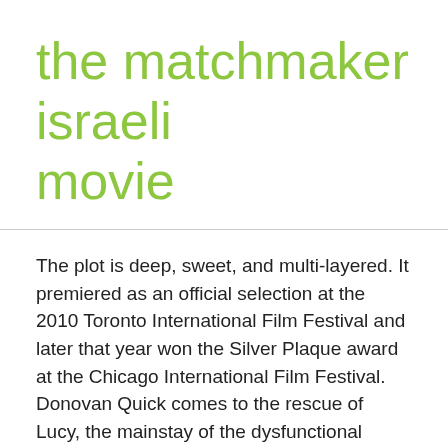the matchmaker israeli movie
The plot is deep, sweet, and multi-layered. It premiered as an official selection at the 2010 Toronto International Film Festival and later that year won the Silver Plaque award at the Chicago International Film Festival. Donovan Quick comes to the rescue of Lucy, the mainstay of the dysfunctional Pannick family. Author of the article: News Desk. Arik is 16 years-old. Arik, a teenage boy growing up in Haifa in 1968, gets a job working for Yankele Bride, a matchmaker. Director. Directed by Mark Joffe. I saw it, and added a third...David O'Hara!It's been awhile since I saw a couple as realistically portrayed as Marcy and Sean, although in the midst of it was a lot of magic. Synopsis. At a time when many Israeli films are